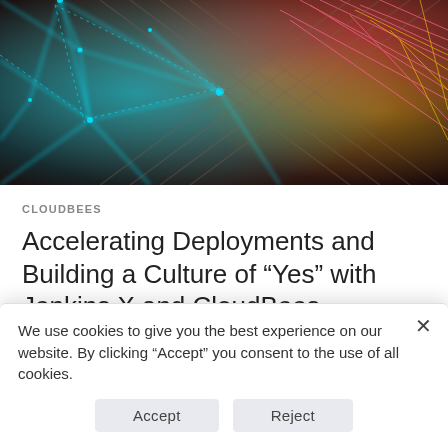[Figure (photo): Abstract digital network visualization with colorful glowing lines (cyan, red, yellow) forming a web-like pattern over a dark, blurred background suggesting technology and connectivity.]
CLOUDBEES
Accelerating Deployments and Building a Culture of “Yes” with Jenkins X and CloudBees
We use cookies to give you the best experience on our website. By clicking “Accept” you consent to the use of all cookies.